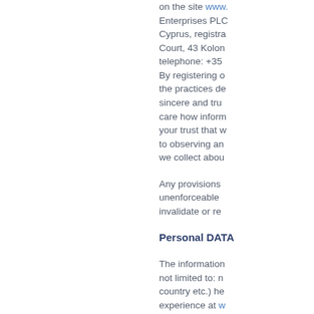on the site www. Enterprises PLC Cyprus, registra Court, 43 Kolon telephone: +35 By registering o the practices de sincere and tru care how inform your trust that w to observing an we collect abou
Any provisions unenforceable invalidate or re
Personal DATA
The information not limited to: n country etc.) he experience at w you provide us the achievement persons or cert reliability and i